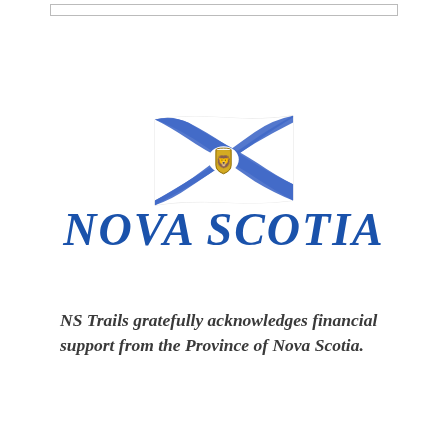[Figure (logo): Nova Scotia provincial flag with blue saltire cross on white background and gold lion crest, above the text NOVA SCOTIA in large bold italic blue letters]
NS Trails gratefully acknowledges financial support from the Province of Nova Scotia.